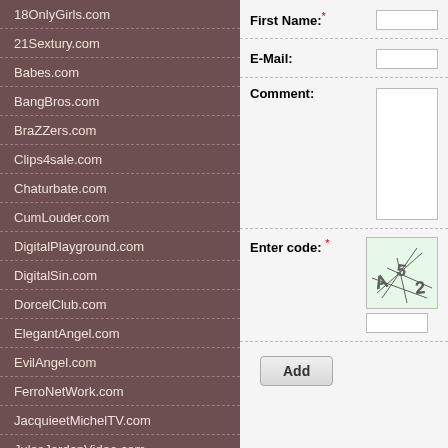18OnlyGirls.com
21Sextury.com
Babes.com
BangBros.com
BraZZers.com
Clips4sale.com
Chaturbate.com
CumLouder.com
DigitalPlayground.com
DigitalSin.com
DorcelClub.com
ElegantAngel.com
EvilAngel.com
FerroNetWork.com
JacquieetMichelTV.com
JulesJordanVideo.com
LaFRANCEaPoil.com
LegalPorno.com
Kink.com
Mature.nl
ManyVids.com
First Name: *
E-Mail:
Comment:
Enter code: *
Add